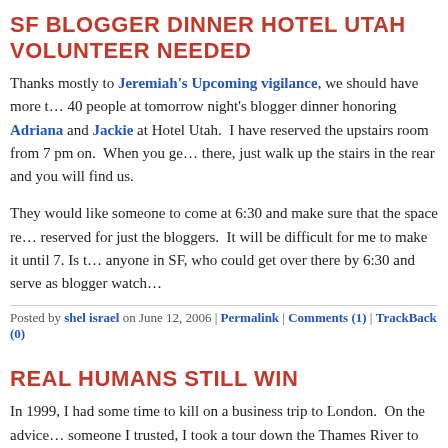SF BLOGGER DINNER HOTEL UTAH VOLUNTEER NEEDED
Thanks mostly to Jeremiah's Upcoming vigilance, we should have more than 40 people at tomorrow night's blogger dinner honoring Adriana and Jackie at Hotel Utah. I have reserved the upstairs room from 7 pm on. When you get there, just walk up the stairs in the rear and you will find us.
They would like someone to come at 6:30 and make sure that the space remains reserved for just the bloggers. It will be difficult for me to make it until 7. Is there anyone in SF, who could get over there by 6:30 and serve as blogger watch
Posted by shel israel on June 12, 2006 | Permalink | Comments (1) | TrackBack (0)
REAL HUMANS STILL WIN
In 1999, I had some time to kill on a business trip to London. On the advice of someone I trusted, I took a tour down the Thames River to Greenwich and the Royal Observatory where Greenwich Mean Time begins and ends. The river tour had been the second best I'd ever heard. A river guide, adept at both British irreverence and history gave what is still the second best tour narrative I have ever heard. He showed us where the tall Blackbeard the pirate, sentenced to death was tied to a pier piling. A full moon created low tides and it took three before old pirate's head finally got covered by enough river to drown him.